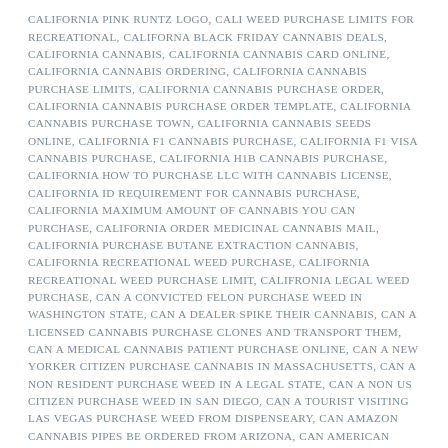CALIFORNIA PINK RUNTZ LOGO, CALI WEED PURCHASE LIMITS FOR RECREATIONAL, CALIFORNA BLACK FRIDAY CANNABIS DEALS, CALIFORNIA CANNABIS, CALIFORNIA CANNABIS CARD ONLINE, CALIFORNIA CANNABIS ORDERING, CALIFORNIA CANNABIS PURCHASE LIMITS, CALIFORNIA CANNABIS PURCHASE ORDER, CALIFORNIA CANNABIS PURCHASE ORDER TEMPLATE, CALIFORNIA CANNABIS PURCHASE TOWN, CALIFORNIA CANNABIS SEEDS ONLINE, CALIFORNIA F1 CANNABIS PURCHASE, CALIFORNIA F1 VISA CANNABIS PURCHASE, CALIFORNIA H1B CANNABIS PURCHASE, CALIFORNIA HOW TO PURCHASE LLC WITH CANNABIS LICENSE, CALIFORNIA ID REQUIREMENT FOR CANNABIS PURCHASE, CALIFORNIA MAXIMUM AMOUNT OF CANNABIS YOU CAN PURCHASE, CALIFORNIA ORDER MEDICINAL CANNABIS MAIL, CALIFORNIA PURCHASE BUTANE EXTRACTION CANNABIS, CALIFORNIA RECREATIONAL WEED PURCHASE, CALIFORNIA RECREATIONAL WEED PURCHASE LIMIT, CALIFRONIA LEGAL WEED PURCHASE, CAN A CONVICTED FELON PURCHASE WEED IN WASHINGTON STATE, CAN A DEALER SPIKE THEIR CANNABIS, CAN A LICENSED CANNABIS PURCHASE CLONES AND TRANSPORT THEM, CAN A MEDICAL CANNABIS PATIENT PURCHASE ONLINE, CAN A NEW YORKER CITIZEN PURCHASE CANNABIS IN MASSACHUSETTS, CAN A NON RESIDENT PURCHASE WEED IN A LEGAL STATE, CAN A NON US CITIZEN PURCHASE WEED IN SAN DIEGO, CAN A TOURIST VISITING LAS VEGAS PURCHASE WEED FROM DISPENSEARY, CAN AMAZON CANNABIS PIPES BE ORDERED FROM ARIZONA, CAN AMERICAN TOURISTS PURCHASE WEED IN CANADA, CAN AN OUT OF STATE ADULT PURCHASE CANNABIS IN MASS, CAN ANNADDIST PURCHASE CANNABIS IN CA